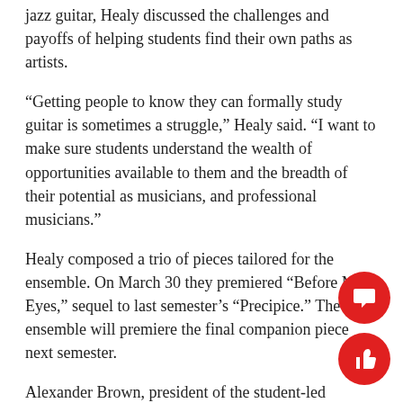jazz guitar, Healy discussed the challenges and payoffs of helping students find their own paths as artists.
“Getting people to know they can formally study guitar is sometimes a struggle,” Healy said. “I want to make sure students understand the wealth of opportunities available to them and the breadth of their potential as musicians, and professional musicians.”
Healy composed a trio of pieces tailored for the ensemble. On March 30 they premiered “Before My Eyes,” sequel to last semester’s “Precipice.” The ensemble will premiere the final companion piece next semester.
Alexander Brown, president of the student-led Mariachi Club, played the trumpet with the Jazz ensemble and Oscar Passley prior to the guitarists’ performance. A fan of all types of musical traditions, he signed up for Healy’s guitar class to expand his knowledge of the instrument.